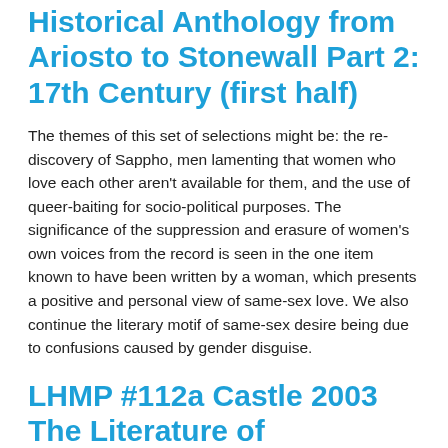Historical Anthology from Ariosto to Stonewall Part 2: 17th Century (first half)
The themes of this set of selections might be: the re-discovery of Sappho, men lamenting that women who love each other aren't available for them, and the use of queer-baiting for socio-political purposes. The significance of the suppression and erasure of women's own voices from the record is seen in the one item known to have been written by a woman, which presents a positive and personal view of same-sex love. We also continue the literary motif of same-sex desire being due to confusions caused by gender disguise.
LHMP #112a Castle 2003 The Literature of Lesbianism: A Historical Anthology from Ariosto to Stonewall Part 1: